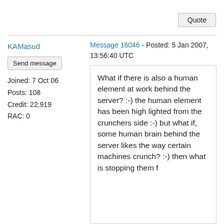Quote
KAMasud
Message 16046 - Posted: 5 Jan 2007, 13:56:40 UTC
Send message
Joined: 7 Oct 06
Posts: 108
Credit: 22,919
RAC: 0
What if there is also a human element at work behind the server? :-) the human element has been high lighted from the crunchers side :-) but what if, some human brain behind the server likes the way certain machines crunch? :-) then what is stopping them f...